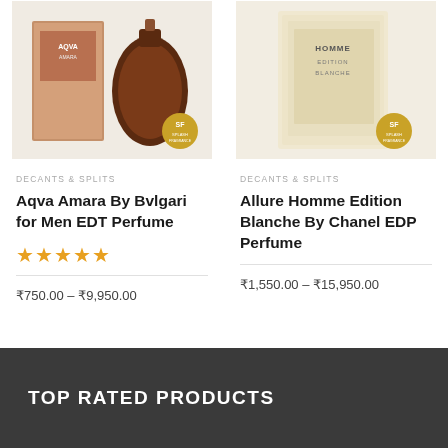[Figure (photo): Aqva Amara by Bvlgari perfume product image with SF badge]
[Figure (photo): Allure Homme Edition Blanche by Chanel perfume product image with SF badge]
DECANTS & SPLITS
Aqva Amara By Bvlgari for Men EDT Perfume
★★★★★
₹750.00 – ₹9,950.00
DECANTS & SPLITS
Allure Homme Edition Blanche By Chanel EDP Perfume
₹1,550.00 – ₹15,950.00
TOP RATED PRODUCTS